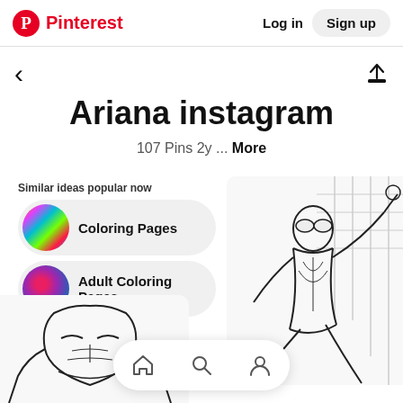Pinterest  Log in  Sign up
Ariana instagram
107 Pins 2y ... More
Similar ideas popular now
Coloring Pages
Adult Coloring Pages
[Figure (illustration): Spider-Man coloring page sketch, black and white line art showing Spider-Man climbing a wall]
[Figure (illustration): Iron Man coloring page sketch, black and white line art]
Home, Search, Profile navigation icons